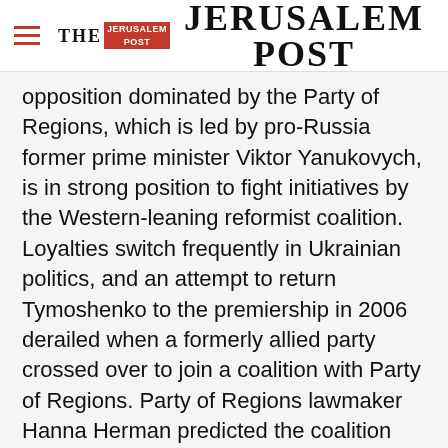THE JERUSALEM POST
opposition dominated by the Party of Regions, which is led by pro-Russia former prime minister Viktor Yanukovych, is in strong position to fight initiatives by the Western-leaning reformist coalition. Loyalties switch frequently in Ukrainian politics, and an attempt to return Tymoshenko to the premiership in 2006 derailed when a formerly allied party crossed over to join a coalition with Party of Regions. Party of Regions lawmaker Hanna Herman predicted the coalition
Advertisement